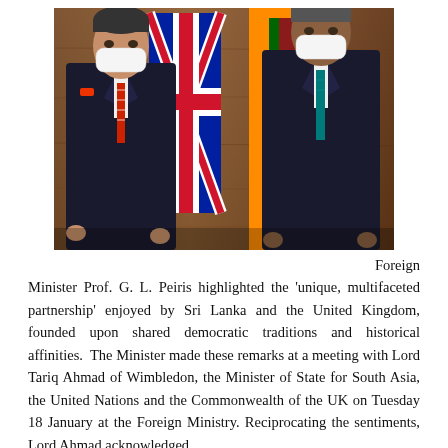[Figure (photo): Two men wearing white face masks standing in front of the UK flag and Sri Lanka flag against a wood-paneled background. The man on the left wears a dark suit with a red striped tie. The man on the right wears a dark suit with a teal/blue tie.]
Foreign Minister Prof. G. L. Peiris highlighted the 'unique, multifaceted partnership' enjoyed by Sri Lanka and the United Kingdom, founded upon shared democratic traditions and historical affinities.  The Minister made these remarks at a meeting with Lord Tariq Ahmad of Wimbledon, the Minister of State for South Asia, the United Nations and the Commonwealth of the UK on Tuesday 18 January at the Foreign Ministry. Reciprocating the sentiments, Lord Ahmad acknowledged